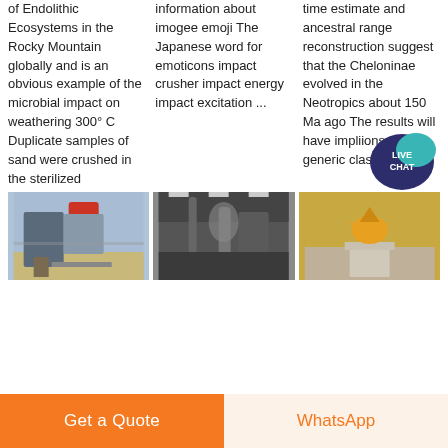of Endolithic Ecosystems in the Rocky Mountain globally and is an obvious example of the microbial impact on weathering 300° C Duplicate samples of sand were crushed in the sterilized
information about imogee emoji The Japanese word for emoticons impact crusher impact energy impact excitation ...
time estimate and ancestral range reconstruction suggest that the Cheloninae evolved in the Neotropics about 150 Ma ago The results will have impliions for the generic classifiion of
[Figure (photo): Outdoor industrial impact crusher machine with blue sky background]
[Figure (photo): Indoor industrial facility with large pipes and machinery]
[Figure (photo): Golden eagle statue or sculpture on a concrete pedestal]
[Figure (other): Live Chat button with speech bubble icon in dark blue/teal]
Get a Quote
WhatsApp